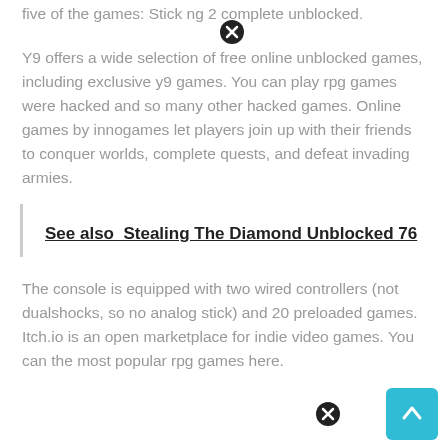five of the games: Stick ng 2 complete unblocked.
Y9 offers a wide selection of free online unblocked games, including exclusive y9 games. You can play rpg games were hacked and so many other hacked games. Online games by innogames let players join up with their friends to conquer worlds, complete quests, and defeat invading armies.
See also  Stealing The Diamond Unblocked 76
The console is equipped with two wired controllers (not dualshocks, so no analog stick) and 20 preloaded games. Itch.io is an open marketplace for indie video games. You can the most popular rpg games here.